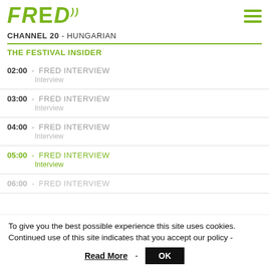[Figure (logo): FRED logo in green italic bold text with signal/wifi icon, and hamburger menu icon on the right]
CHANNEL 20 - HUNGARIAN
THE FESTIVAL INSIDER
02:00 - FRED INTERVIEW
Interview
03:00 - FRED INTERVIEW
Interview
04:00 - FRED INTERVIEW
Interview
05:00 - FRED INTERVIEW
Interview
06:00 - FRED INTERVIEW
To give you the best possible experience this site uses cookies. Continued use of this site indicates that you accept our policy -
Read More - OK